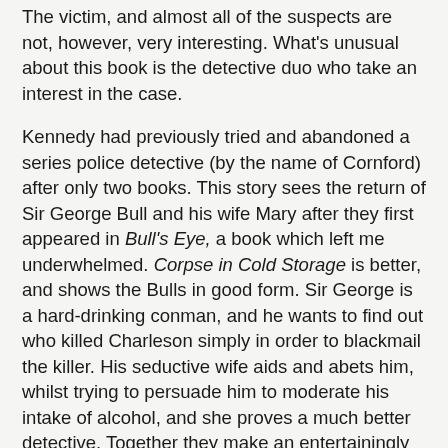The victim, and almost all of the suspects are not, however, very interesting. What's unusual about this book is the detective duo who take an interest in the case.
Kennedy had previously tried and abandoned a series police detective (by the name of Cornford) after only two books. This story sees the return of Sir George Bull and his wife Mary after they first appeared in Bull's Eye, a book which left me underwhelmed. Corpse in Cold Storage is better, and shows the Bulls in good form. Sir George is a hard-drinking conman, and he wants to find out who killed Charleson simply in order to blackmail the killer. His seductive wife aids and abets him, whilst trying to persuade him to moderate his intake of alcohol, and she proves a much better detective. Together they make an entertainingly different pair of sleuths. There have been villainous detectives before and since the Bulls, but nobody quite like them.
I enjoyed the story a good deal, though some of the detail about alibis, whilst in the Golden Age tradition, left me as cold as Charleson's corpse. It's a shame that Kennedy abandoned the Bulls after this book. He strikes me as a